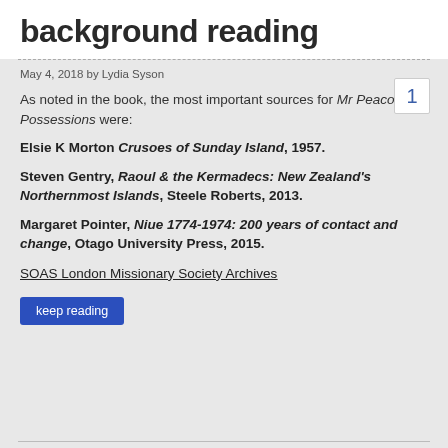background reading
May 4, 2018 by Lydia Syson
As noted in the book, the most important sources for Mr Peacock’s Possessions were:
Elsie K Morton Crusoes of Sunday Island, 1957.
Steven Gentry, Raoul & the Kermadecs: New Zealand’s Northernmost Islands, Steele Roberts, 2013.
Margaret Pointer, Niue 1774-1974: 200 years of contact and change, Otago University Press, 2015.
SOAS London Missionary Society Archives
keep reading